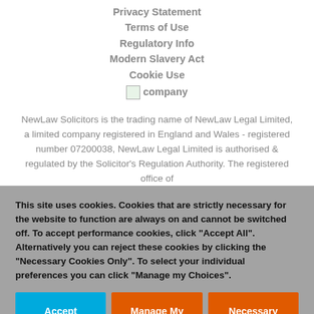Privacy Statement
Terms of Use
Regulatory Info
Modern Slavery Act
Cookie Use
[Figure (logo): Company icon/logo placeholder image]
NewLaw Solicitors is the trading name of NewLaw Legal Limited, a limited company registered in England and Wales - registered number 07200038, NewLaw Legal Limited is authorised & regulated by the Solicitor's Regulation Authority. The registered office of
This site uses cookies. Cookies that are strictly necessary for the website to function are always on and cannot be switched off. To accept performance cookies, click "Accept All". Alternatively you can reject these cookies by clicking the "Necessary Cookies Only". To select your individual preferences you can click "Manage my Choices".
Accept All
Manage My Choices
Necessary Only